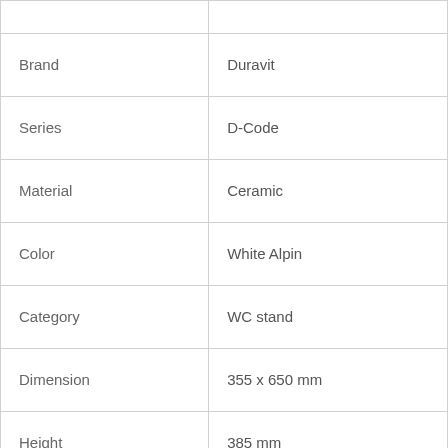| Brand | Duravit |
| Series | D-Code |
| Material | Ceramic |
| Color | White Alpin |
| Category | WC stand |
| Dimension | 355 x 650 mm |
| Height | 385 mm |
| Weight | 18.6 Kg |
| Rough-In | 135 mm |